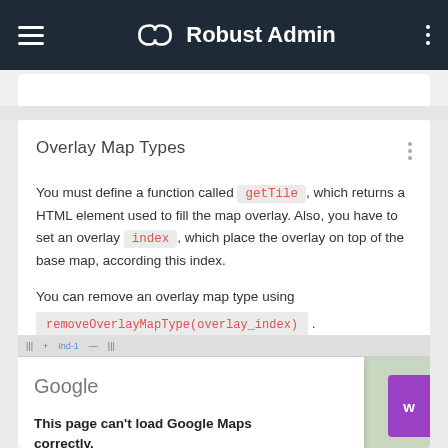Robust Admin
Overlay Map Types
You must define a function called getTile, which returns a HTML element used to fill the map overlay. Also, you have to set an overlay index, which place the overlay on top of the base map, according this index.
You can remove an overlay map type using removeOverlayMapType(overlay_index).
[Figure (screenshot): Google Maps error screenshot showing 'This page can't load Google Maps correctly.' dialog]